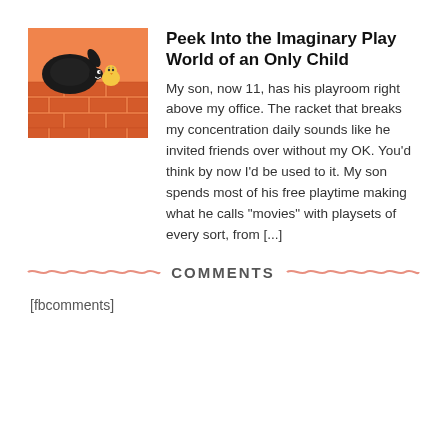[Figure (illustration): Orange/red brick wall scene with a black turtle character and a small yellow chick character peeking over the wall]
Peek Into the Imaginary Play World of an Only Child
My son, now 11, has his playroom right above my office. The racket that breaks my concentration daily sounds like he invited friends over without my OK. You’d think by now I’d be used to it. My son spends most of his free playtime making what he calls “movies” with playsets of every sort, from [...]
COMMENTS
[fbcomments]